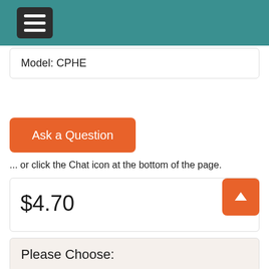Model: CPHE
Ask a Question
... or click the Chat icon at the bottom of the page.
$4.70
Please Choose:
Choose Hatch/Ship Date